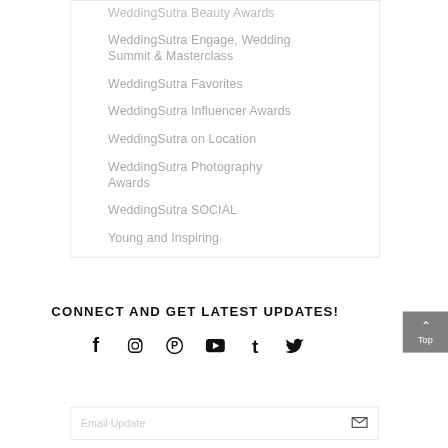WeddingSutra Beauty Awards
WeddingSutra Engage, Wedding Summit & Masterclass
WeddingSutra Favorites
WeddingSutra Influencer Awards
WeddingSutra on Location
WeddingSutra Photography Awards
WeddingSutra SOCIAL
Young and Inspiring
CONNECT AND GET LATEST UPDATES!
[Figure (infographic): Social media icons row: Facebook, Instagram, Pinterest, YouTube, Tumblr, Twitter]
Email Update